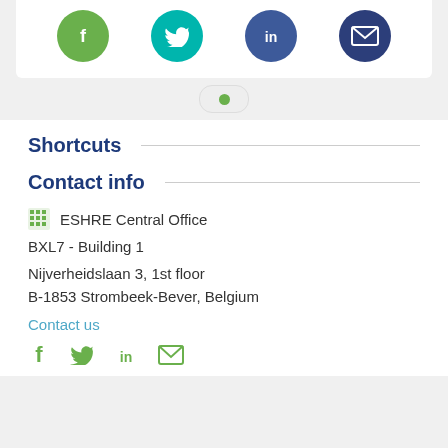[Figure (other): Social media icons in colored circles: Facebook (green), Twitter (teal), LinkedIn (blue), Email (dark blue)]
[Figure (other): Green dot navigation indicator]
Shortcuts
Contact info
ESHRE Central Office
BXL7 - Building 1
Nijverheidslaan 3, 1st floor
B-1853 Strombeek-Bever, Belgium
Contact us
[Figure (other): Green social media icons: Facebook, Twitter, LinkedIn, Email]